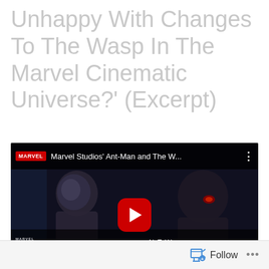Unhappy With Changes To The Wasp In The Marvel Cinematic Universe?' (Excerpt)
[Figure (screenshot): YouTube video embed showing Marvel Studios' Ant-Man and The Wasp trailer thumbnail with play button, featuring two armored figures and 'NEW TRAILER' text overlay. Video title bar shows MARVEL badge and 'Marvel Studios' Ant-Man and The W...' with three-dot menu.]
Follow ...